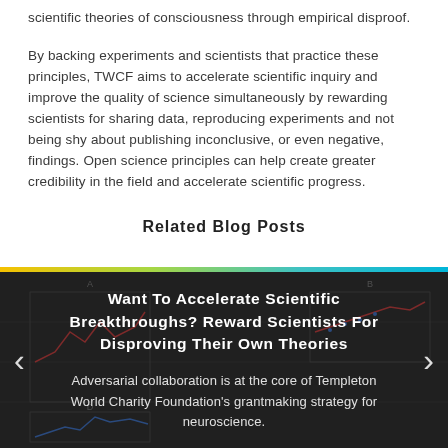scientific theories of consciousness through empirical disproof.
By backing experiments and scientists that practice these principles, TWCF aims to accelerate scientific inquiry and improve the quality of science simultaneously by rewarding scientists for sharing data, reproducing experiments and not being shy about publishing inconclusive, or even negative, findings. Open science principles can help create greater credibility in the field and accelerate scientific progress.
Related Blog Posts
[Figure (infographic): Blog post card with dark background showing scientists in front of charts/graphs, with a colorful rainbow gradient bar at top. Title: 'Want To Accelerate Scientific Breakthroughs? Reward Scientists For Disproving Their Own Theories'. Description: 'Adversarial collaboration is at the core of Templeton World Charity Foundation’s grantmaking strategy for neuroscience.' Navigation arrows on left and right sides.]